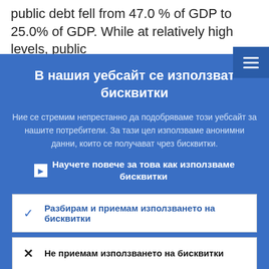public debt fell from 47.0 % of GDP to 25.0% of GDP. While at relatively high levels, public
В нашия уебсайт се използват бисквитки
Ние се стремим непрестанно да подобряваме този уебсайт за нашите потребители. За тази цел използваме анонимни данни, които се получават чрез бисквитки.
Научете повече за това как използваме бисквитки
Разбирам и приемам използването на бисквитки
Не приемам използването на бисквитки